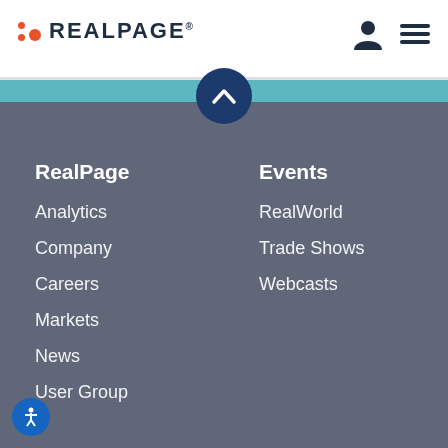[Figure (logo): RealPage logo with orange dots and dark text]
[Figure (illustration): User icon and hamburger menu icon in header]
[Figure (illustration): Teal stripe with dark blue chevron up circle button]
RealPage
Analytics
Company
Careers
Markets
News
User Group
Events
RealWorld
Trade Shows
Webcasts